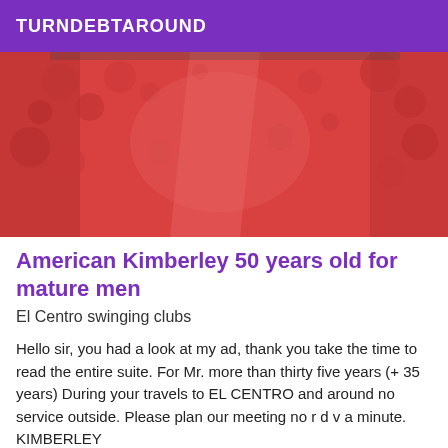TURNDEBTAROUND
[Figure (photo): Close-up photo of red lace fabric/lingerie]
American Kimberley 50 years old for mature men
El Centro swinging clubs
Hello sir, you had a look at my ad, thank you take the time to read the entire suite. For Mr. more than thirty five years (+ 35 years) During your travels to EL CENTRO and around no service outside. Please plan our meeting no r d v a minute. KIMBERLEY
[Figure (photo): Partial outdoor photo visible at the bottom of the page]